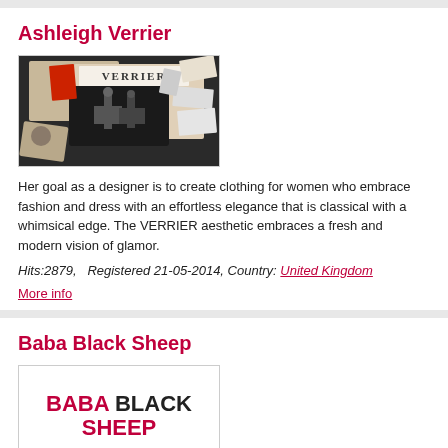Ashleigh Verrier
[Figure (photo): Mood board / designer image with VERRIER text at top, mannequins, fabric swatches and design materials arranged as a collage]
Her goal as a designer is to create clothing for women who embrace fashion and dress with an effortless elegance that is classical with a whimsical edge. The VERRIER aesthetic embraces a fresh and modern vision of glamor.
Hits:2879,   Registered 21-05-2014, Country: United Kingdom
More info
Baba Black Sheep
[Figure (logo): Baba Black Sheep logo: BABA in red, BLACK in black bold, SHEEP in red bold large text]
Baba Black Sheep offers best quality shawls, silk fabrics, stoles